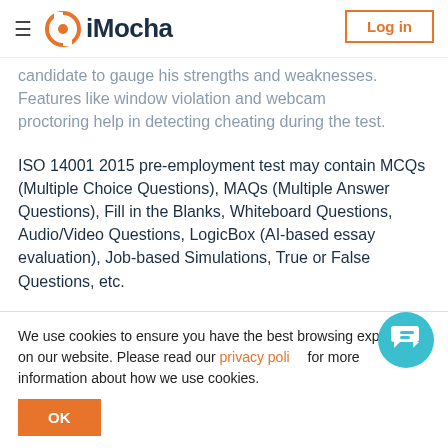iMocha — Log in
candidate to gauge his strengths and weaknesses. Features like window violation and webcam proctoring help in detecting cheating during the test.
ISO 14001 2015 pre-employment test may contain MCQs (Multiple Choice Questions), MAQs (Multiple Answer Questions), Fill in the Blanks, Whiteboard Questions, Audio/Video Questions, LogicBox (AI-based essay evaluation), Job-based Simulations, True or False Questions, etc.
ISO 14001 2015 skills test is designed considering EEOC
We use cookies to ensure you have the best browsing experience on our website. Please read our privacy policy for more information about how we use cookies.
OK